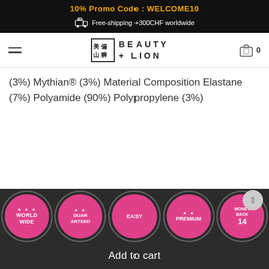10% Promo Code : WELCOME10
Free-shipping +300CHF worldwide
[Figure (logo): Beauty + Lion logo with Chinese character box and stylized text]
(3%) Mythian® (3%) Material Composition Elastane (7%) Polyamide (90%) Polypropylene (3%)
[Figure (infographic): Row of pink badge icons: WORLDWIDE, GUARANTEED, EASY, PREMIUM, MONEY BACK 14]
Add to cart